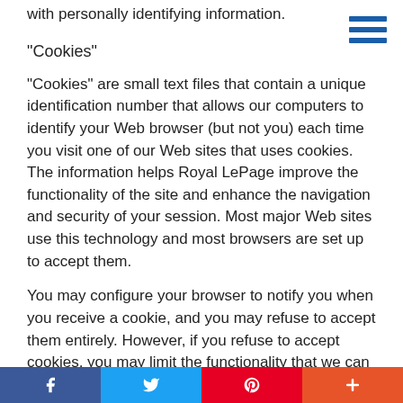with personally identifying information.
"Cookies"
"Cookies" are small text files that contain a unique identification number that allows our computers to identify your Web browser (but not you) each time you visit one of our Web sites that uses cookies. The information helps Royal LePage improve the functionality of the site and enhance the navigation and security of your session. Most major Web sites use this technology and most browsers are set up to accept them.
You may configure your browser to notify you when you receive a cookie, and you may refuse to accept them entirely. However, if you refuse to accept cookies, you may limit the functionality that we can provide to you when you visit our site. For example, the Royal LePage exclusive web-based
f  t  p  +